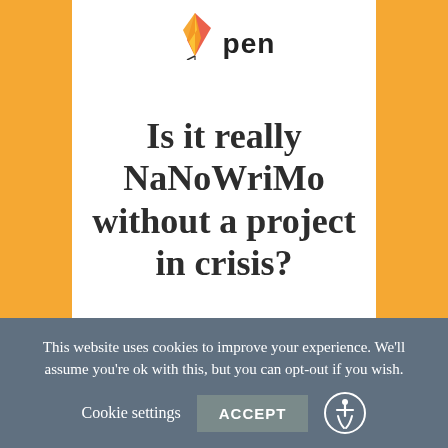[Figure (logo): Pen/feather logo with a colorful quill and the word 'pen' in bold black sans-serif]
Is it really NaNoWriMo without a project in crisis?
Last week, I was bound and determined to make tracks on my angsty sentient
This website uses cookies to improve your experience. We'll assume you're ok with this, but you can opt-out if you wish. Cookie settings ACCEPT